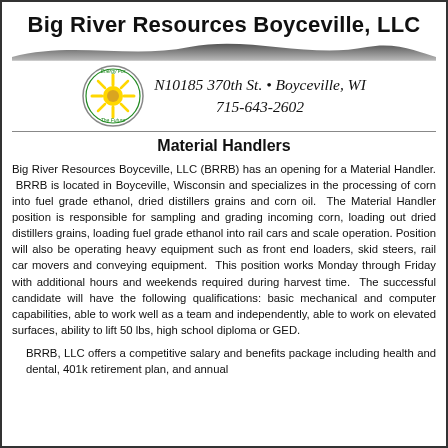Big River Resources Boyceville, LLC
N10185 370th St. • Boyceville, WI 715-643-2602
Material Handlers
Big River Resources Boyceville, LLC (BRRB) has an opening for a Material Handler. BRRB is located in Boyceville, Wisconsin and specializes in the processing of corn into fuel grade ethanol, dried distillers grains and corn oil. The Material Handler position is responsible for sampling and grading incoming corn, loading out dried distillers grains, loading fuel grade ethanol into rail cars and scale operation. Position will also be operating heavy equipment such as front end loaders, skid steers, rail car movers and conveying equipment. This position works Monday through Friday with additional hours and weekends required during harvest time. The successful candidate will have the following qualifications: basic mechanical and computer capabilities, able to work well as a team and independently, able to work on elevated surfaces, ability to lift 50 lbs, high school diploma or GED.
BRRB, LLC offers a competitive salary and benefits package including health and dental, 401k retirement plan, and annual